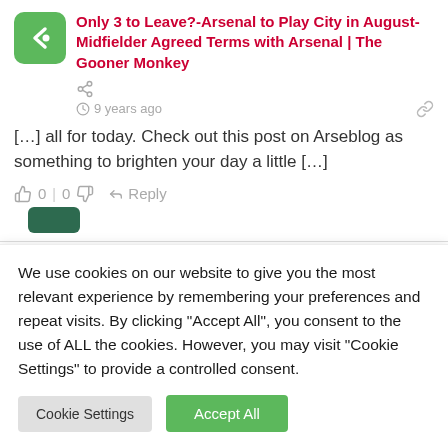Only 3 to Leave?-Arsenal to Play City in August- Midfielder Agreed Terms with Arsenal | The Gooner Monkey
9 years ago
[…] all for today. Check out this post on Arseblog as something to brighten your day a little […]
0 | 0   Reply
We use cookies on our website to give you the most relevant experience by remembering your preferences and repeat visits. By clicking "Accept All", you consent to the use of ALL the cookies. However, you may visit "Cookie Settings" to provide a controlled consent.